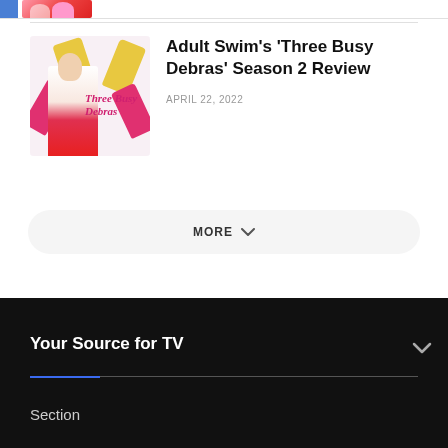[Figure (photo): Partial top strip showing cropped images from previous article listings]
[Figure (photo): Three Busy Debras show poster with woman in red dress surrounded by pink and yellow arms on white background]
Adult Swim's 'Three Busy Debras' Season 2 Review
APRIL 22, 2022
MORE
Your Source for TV
Section